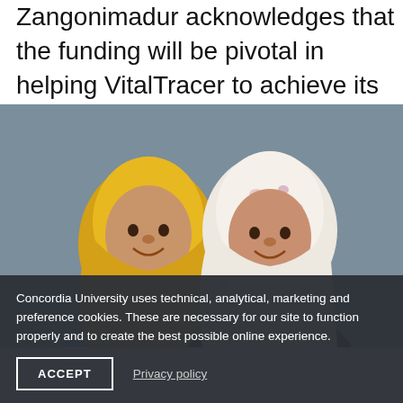Zangonimadur acknowledges that the funding will be pivotal in helping VitalTracer to achieve its goals.
[Figure (photo): Two women wearing hijabs smiling, one in yellow hijab with floral top, one in white/patterned hijab in dark top, against grey background]
Concordia University uses technical, analytical, marketing and preference cookies. These are necessary for our site to function properly and to create the best possible online experience.